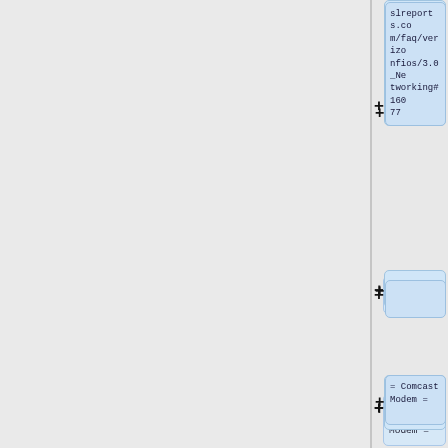slreports.com/faq/verizonfios/3.0_Networking#160 77
= Comcast Modem =
We have received some information from our dealers that if your site has a Comcast modem/router